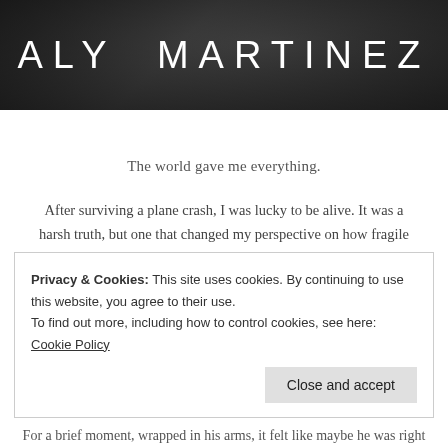[Figure (photo): Dark header banner with author name ALY MARTINEZ in large spaced white letters on a dark/moody background]
ALY MARTINEZ
The world gave me everything.
After surviving a plane crash, I was lucky to be alive. It was a harsh truth, but one that changed my perspective on how fragile life could be.
So when a fellow survivor caught my eye, I owed it to myself to take a chance and follow my heart.
Privacy & Cookies: This site uses cookies. By continuing to use this website, you agree to their use. To find out more, including how to control cookies, see here: Cookie Policy
For a brief moment, wrapped in his arms, it felt like maybe he was right